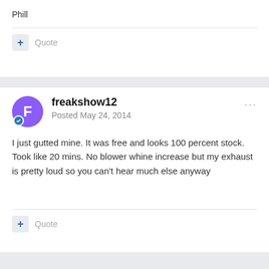Phill
Quote
freakshow12
Posted May 24, 2014
I just gutted mine. It was free and looks 100 percent stock. Took like 20 mins. No blower whine increase but my exhaust is pretty loud so you can't hear much else anyway
Quote